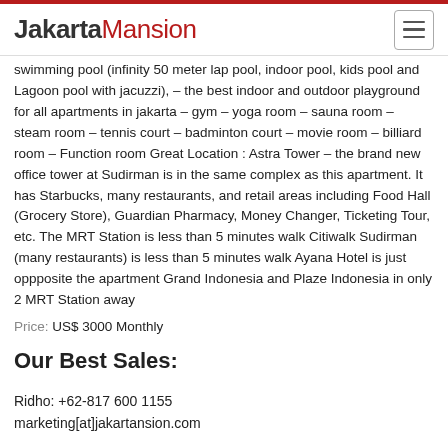JakartaMansion
swimming pool (infinity 50 meter lap pool, indoor pool, kids pool and Lagoon pool with jacuzzi), – the best indoor and outdoor playground for all apartments in jakarta – gym – yoga room – sauna room – steam room – tennis court – badminton court – movie room – billiard room – Function room Great Location : Astra Tower – the brand new office tower at Sudirman is in the same complex as this apartment. It has Starbucks, many restaurants, and retail areas including Food Hall (Grocery Store), Guardian Pharmacy, Money Changer, Ticketing Tour, etc. The MRT Station is less than 5 minutes walk Citiwalk Sudirman (many restaurants) is less than 5 minutes walk Ayana Hotel is just oppposite the apartment Grand Indonesia and Plaze Indonesia in only 2 MRT Station away
Price: US$ 3000 Monthly
Our Best Sales:
Ridho: +62-817 600 1155
marketing[at]jakartansion.com